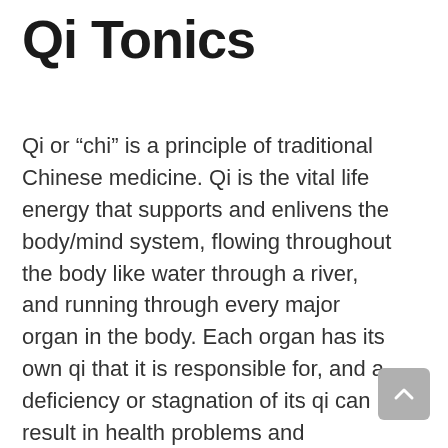Qi Tonics
Qi or “chi” is a principle of traditional Chinese medicine. Qi is the vital life energy that supports and enlivens the body/mind system, flowing throughout the body like water through a river, and running through every major organ in the body. Each organ has its own qi that it is responsible for, and a deficiency or stagnation of its qi can result in health problems and symptoms.
There are lifestyle practices and herbal medicines that can be used to bolster qi and improve the health of specific organ systems. When your qi